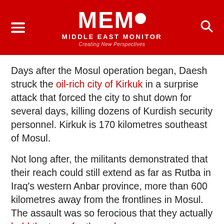MEMO MIDDLE EAST MONITOR — Creating New Perspectives
Days after the Mosul operation began, Daesh struck the oil-rich city of Kirkuk in a surprise attack that forced the city to shut down for several days, killing dozens of Kurdish security personnel. Kirkuk is 170 kilometres southeast of Mosul.
Not long after, the militants demonstrated that their reach could still extend as far as Rutba in Iraq's western Anbar province, more than 600 kilometres away from the frontlines in Mosul. The assault was so ferocious that they actually held the town for three days